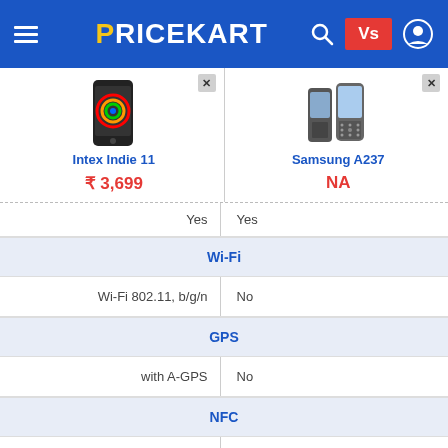PRICEKART — Vs comparison page header
| Intex Indie 11 | Samsung A237 |
| --- | --- |
| ₹3,699 | NA |
| Yes | Yes |
| Wi-Fi | Wi-Fi |
| Wi-Fi 802.11, b/g/n | No |
| GPS | GPS |
| with A-GPS | No |
| NFC | NFC |
| No | No |
| Radio | Radio |
| Yes | Yes |
| Battery Capacity | Battery Capacity |